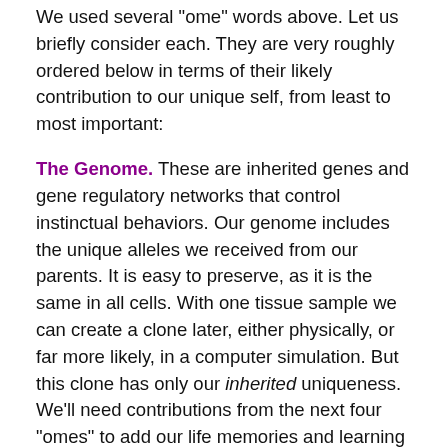We used several “ome” words above. Let us briefly consider each. They are very roughly ordered below in terms of their likely contribution to our unique self, from least to most important:
The Genome. These are inherited genes and gene regulatory networks that control instinctual behaviors. Our genome includes the unique alleles we received from our parents. It is easy to preserve, as it is the same in all cells. With one tissue sample we can create a clone later, either physically, or far more likely, in a computer simulation. But this clone has only our inherited uniqueness. We’ll need contributions from the next four “omes” to add our life memories and learning to the emulation.
The Transcriptome. This is the set of proteins made (transcribed) by cells. While proteomics (another “ome” word) is in its infancy, scientists estimate each of our cells